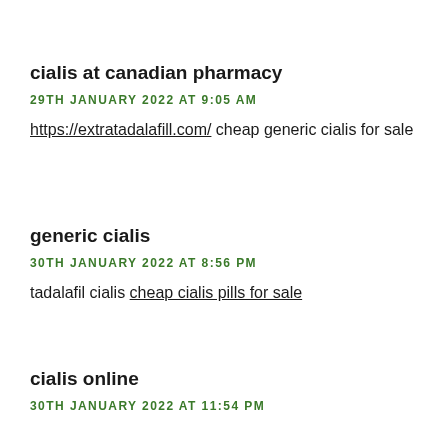cialis at canadian pharmacy
29TH JANUARY 2022 AT 9:05 AM
https://extratadalafill.com/ cheap generic cialis for sale
generic cialis
30TH JANUARY 2022 AT 8:56 PM
tadalafil cialis cheap cialis pills for sale
cialis online
30TH JANUARY 2022 AT 11:54 PM